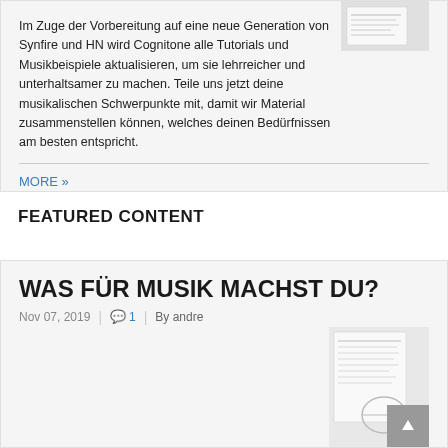[Figure (screenshot): Thumbnail image of a document/screenshot in the top-right of the card]
Im Zuge der Vorbereitung auf eine neue Generation von Synfire und HN wird Cognitone alle Tutorials und Musikbeispiele aktualisieren, um sie lehrreicher und unterhaltsamer zu machen. Teile uns jetzt deine musikalischen Schwerpunkte mit, damit wir Material zusammenstellen können, welches deinen Bedürfnissen am besten entspricht.
MORE »
FEATURED CONTENT
WAS FÜR MUSIK MACHST DU?
Nov 07, 2019 | 💬 1 | By andre
[Figure (screenshot): Thumbnail image of a document with text and a logo at the bottom]